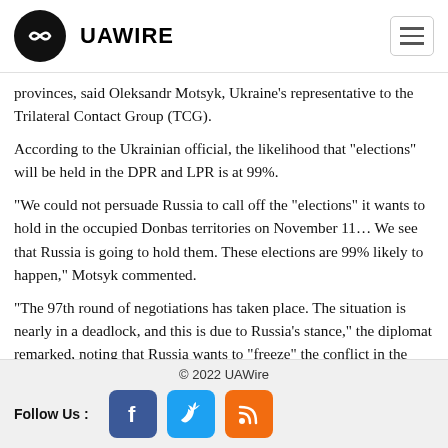UAWIRE
provinces, said Oleksandr Motsyk, Ukraine's representative to the Trilateral Contact Group (TCG).
According to the Ukrainian official, the likelihood that “elections” will be held in the DPR and LPR is at 99%.
“We could not persuade Russia to call off the “elections” it wants to hold in the occupied Donbas territories on November 11… We see that Russia is going to hold them. These elections are 99% likely to happen,” Motsyk commented.
“The 97th round of negotiations has taken place. The situation is nearly in a deadlock, and this is due to Russia’s stance,” the diplomat remarked, noting that Russia wants to “freeze” the conflict in the Donbas and is refusing to accept a diplomatic solution
Motsyk also said that Russia does not want to create a separate talk
© 2022 UAWire
Follow Us :